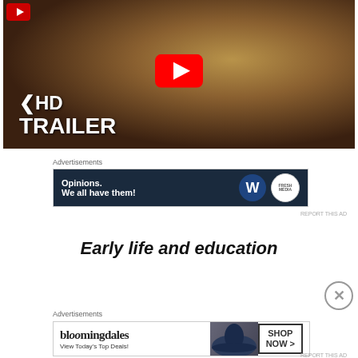[Figure (screenshot): YouTube video thumbnail showing a man's face with beard and mustache, with a large red YouTube play button in the center, and text 'KHD TRAILER' in white bold letters at the bottom left]
Advertisements
[Figure (screenshot): Advertisement banner with dark navy background reading 'Opinions. We all have them!' with WordPress W logo and another circular logo on the right]
REPORT THIS AD
Early life and education
Advertisements
[Figure (screenshot): Bloomingdale's advertisement with text 'bloomingdales' and 'View Today's Top Deals!' with woman wearing blue hat and 'SHOP NOW >' button]